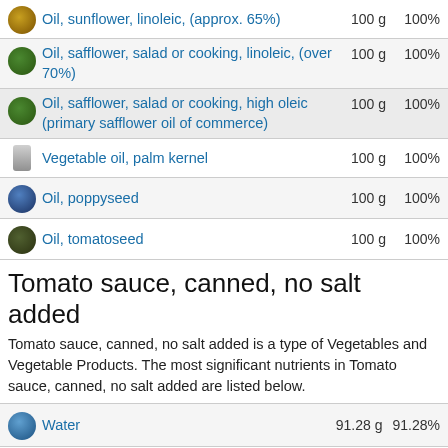Oil, sunflower, linoleic, (approx. 65%)  100 g  100%
Oil, safflower, salad or cooking, linoleic, (over 70%)  100 g  100%
Oil, safflower, salad or cooking, high oleic (primary safflower oil of commerce)  100 g  100%
Vegetable oil, palm kernel  100 g  100%
Oil, poppyseed  100 g  100%
Oil, tomatoseed  100 g  100%
Tomato sauce, canned, no salt added
Tomato sauce, canned, no salt added is a type of Vegetables and Vegetable Products. The most significant nutrients in Tomato sauce, canned, no salt added are listed below.
Water  91.28 g  91.28%
Energy (calorie)  24 kcal
Energy (joule)  102 kJ
Protein  1.2 g  1.2%